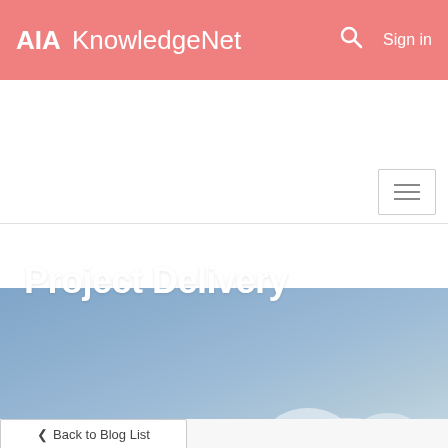AIA KnowledgeNet   Sign in
[Figure (screenshot): AIA KnowledgeNet website header with salmon/coral pink background, AIA bold logo, search icon, and Sign in text]
Project Delivery
Community Home   Discussion 656
Back to Blog List